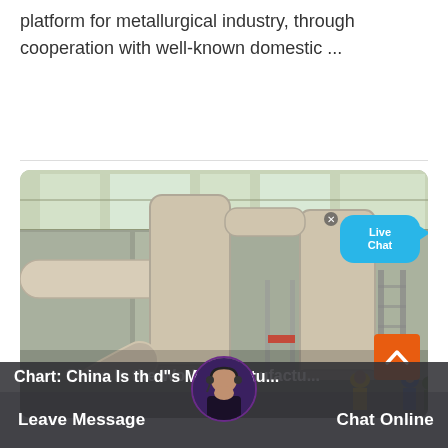platform for metallurgical industry, through cooperation with well-known domestic ...
[Figure (photo): Industrial facility interior showing large beige/cream colored cyclone dust collectors and pipe systems mounted in a warehouse-style building with metal roof. Workers visible in the background.]
Chart: China Is the World"s Manufactu...